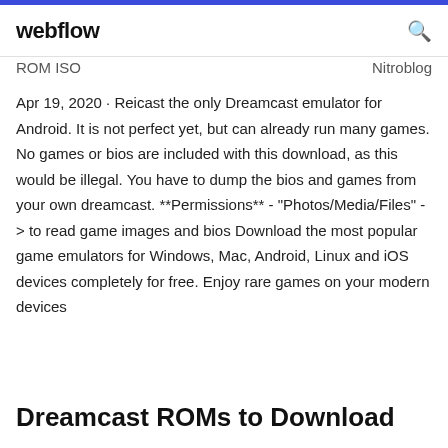webflow
ROM ISO    Nitroblog
Apr 19, 2020 · Reicast the only Dreamcast emulator for Android. It is not perfect yet, but can already run many games. No games or bios are included with this download, as this would be illegal. You have to dump the bios and games from your own dreamcast. **Permissions** - "Photos/Media/Files" -> to read game images and bios Download the most popular game emulators for Windows, Mac, Android, Linux and iOS devices completely for free. Enjoy rare games on your modern devices
Dreamcast ROMs to Download